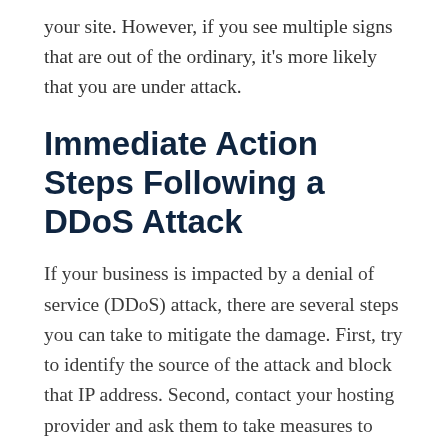your site. However, if you see multiple signs that are out of the ordinary, it's more likely that you are under attack.
Immediate Action Steps Following a DDoS Attack
If your business is impacted by a denial of service (DDoS) attack, there are several steps you can take to mitigate the damage. First, try to identify the source of the attack and block that IP address. Second, contact your hosting provider and ask them to take measures to protect your site. Finally, ensure that your own systems are secure and up to date. By taking these steps, you can help to protect